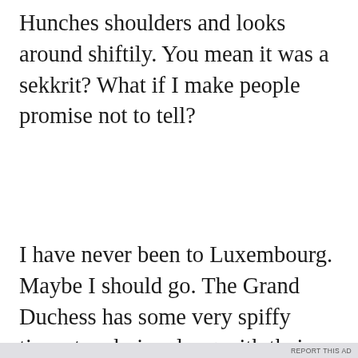Hunches shoulders and looks around shiftily. You mean it was a sekkrit? What if I make people promise not to tell?
I have never been to Luxembourg. Maybe I should go. The Grand Duchess has some very spiffy tiaras to admire along with their forward
Privacy & Cookies: This site uses cookies. By continuing to use this website, you agree to their use.
To find out more, including how to control cookies, see here: Cookie Policy
Close and accept